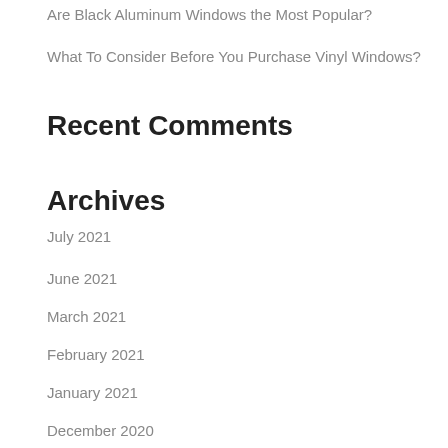Are Black Aluminum Windows the Most Popular?
What To Consider Before You Purchase Vinyl Windows?
Recent Comments
Archives
July 2021
June 2021
March 2021
February 2021
January 2021
December 2020
November 2020
October 2020
September 2020